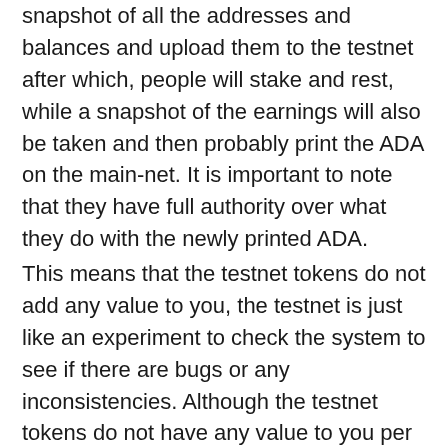snapshot of all the addresses and balances and upload them to the testnet after which, people will stake and rest, while a snapshot of the earnings will also be taken and then probably print the ADA on the main-net. It is important to note that they have full authority over what they do with the newly printed ADA.
This means that the testnet tokens do not add any value to you, the testnet is just like an experiment to check the system to see if there are bugs or any inconsistencies. Although the testnet tokens do not have any value to you per se, they are actual ADA as suggested by Hoskinson. But up till now there is no formal plan as to what will be done with the ADA.